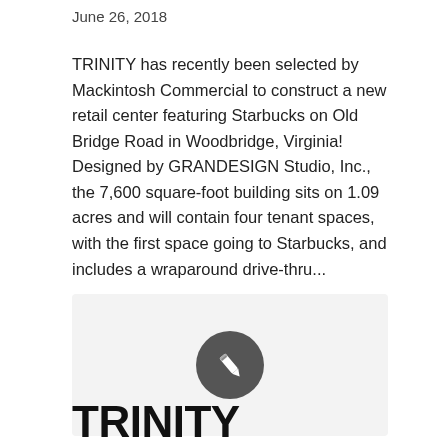June 26, 2018
TRINITY has recently been selected by Mackintosh Commercial to construct a new retail center featuring Starbucks on Old Bridge Road in Woodbridge, Virginia! Designed by GRANDESIGN Studio, Inc., the 7,600 square-foot building sits on 1.09 acres and will contain four tenant spaces, with the first space going to Starbucks, and includes a wraparound drive-thru...
[Figure (illustration): Light gray placeholder image box with a dark gray circle containing a white pencil icon in the center]
TRINITY Named 19th